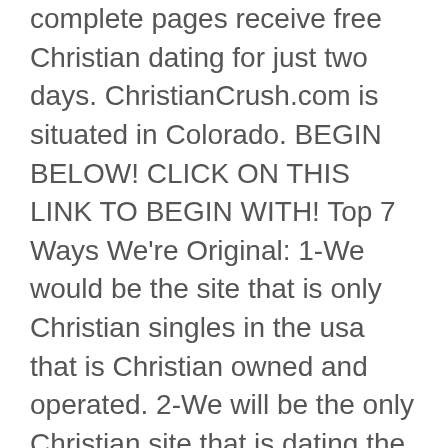complete pages receive free Christian dating for just two days. ChristianCrush.com is situated in Colorado. BEGIN BELOW! CLICK ON THIS LINK TO BEGIN WITH! Top 7 Ways We're Original: 1-We would be the site that is only Christian singles in the usa that is Christian owned and operated. 2-We will be the only Christian site that is dating the US tithing 10% to neighborhood ministries. 3-We would be the only dating internet site manually reviewing every profile that is new. 4-We will be the just site that is christian a couple of weeks free for people with complete pages. 5-We are the only website developed by a Christian Psychologist. 6-We will be the only Christian dating site using movie profiles. 7-We will be the just site that is christian a derivative of the top Five character